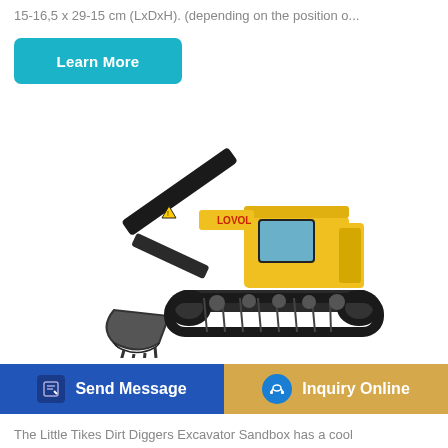15-16,5 x 29-15 cm (LxDxH). (depending on the position o...
[Figure (other): Blue 'Learn More' button]
[Figure (photo): Yellow LOVOL excavator/crawler shovel on white background]
Dirt Diggers Excavator Sandbox - Official
[Figure (other): Blue 'Send Message' button with document icon]
[Figure (other): Gold/tan 'Inquiry Online' button with blue headset icon]
The Little Tikes Dirt Diggers Excavator Sandbox has a cool